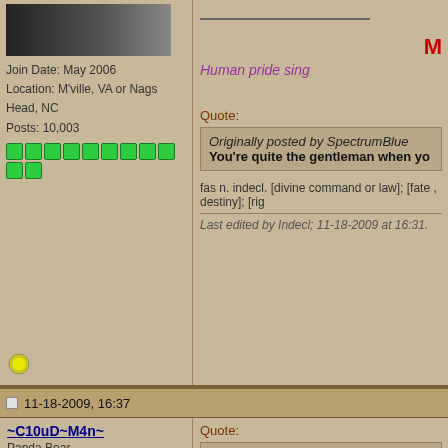Join Date: May 2006
Location: M'ville, VA or Nags Head, NC
Posts: 10,003
M
Human pride sing
Quote:
Originally posted by SpectrumBlue
You're quite the gentleman when yo
fas n. indecl. [divine command or law]; [fate , destiny]; [rig
Last edited by Indecl; 11-18-2009 at 16:31.
11-18-2009, 16:37
~C10uD~M4n~
Panda Bear
Quote:
Originally Posted by Obsidian of old
Why be jealous of the guy and cry abo as Mr Chi City would say.